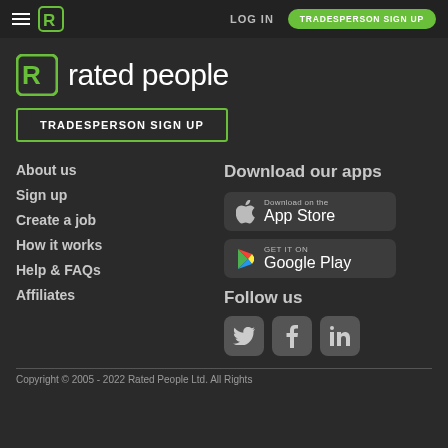LOG IN | TRADESPERSON SIGN UP
[Figure (logo): Rated People logo with green R icon and text 'rated people']
TRADESPERSON SIGN UP
About us
Sign up
Create a job
How it works
Help & FAQs
Affiliates
Download our apps
[Figure (illustration): Download on the App Store badge]
[Figure (illustration): GET IT ON Google Play badge]
Follow us
[Figure (illustration): Twitter, Facebook, LinkedIn social media icons]
Copyright © 2005 - 2022 Rated People Ltd. All Rights